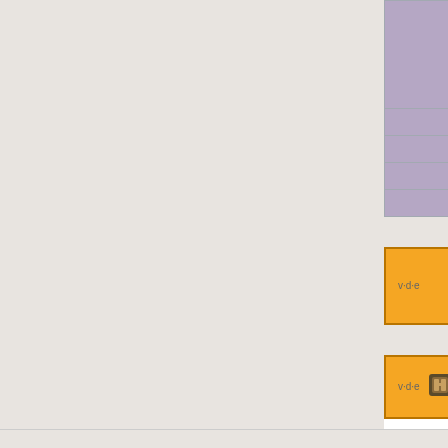| Category | Content |
| --- | --- |
| Tools | Competitive Matchmaking Beta P... · Weapons Case · Powerhouse W... · Mettle Key · Gun Mettle Campaig... · Campaign Coin · Gun Mettle Cos... · Cosmetic Key |
| Achievements | Powerhouse achievements (How... |
| Other | Gun Mettle Campaign · Decorate... |
| Comics | The Contract |
| Soundtrack | Soldier of Dance |
Cosmetic items [expand]
Heavy [expand]
Categories: Community-contributed items | Paintable items | Strange items | Unusual items | Cosmetic items | Gun Mettle Update | Heavy